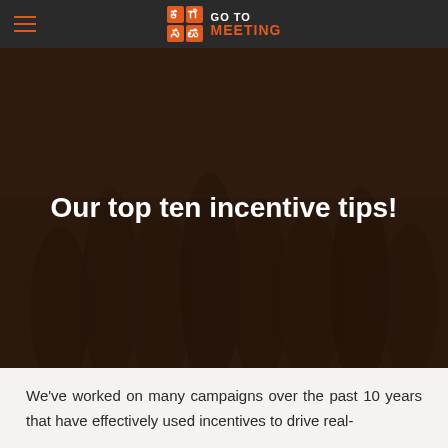[Figure (logo): Go To Meeting logo with stylized icon and orange/white text]
[Figure (photo): Dark-overlaid photo of a group of people socializing, used as hero background]
Our top ten incentive tips!
We've worked on many campaigns over the past 10 years that have effectively used incentives to drive real-